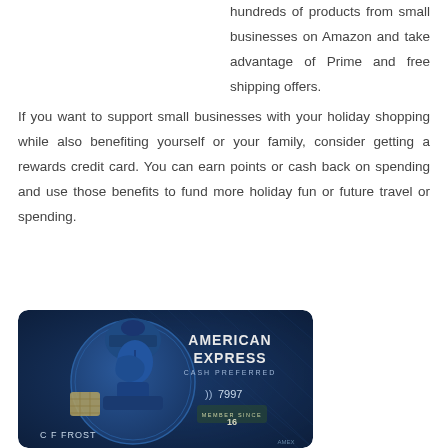hundreds of products from small businesses on Amazon and take advantage of Prime and free shipping offers.
If you want to support small businesses with your holiday shopping while also benefiting yourself or your family, consider getting a rewards credit card. You can earn points or cash back on spending and use those benefits to fund more holiday fun or future travel or spending.
[Figure (photo): American Express Cash Preferred credit card with dark blue design featuring a Roman centurion profile, chip, contactless payment symbol, card number ending 7997, MEMBER SINCE 16, and cardholder name C F FROST]